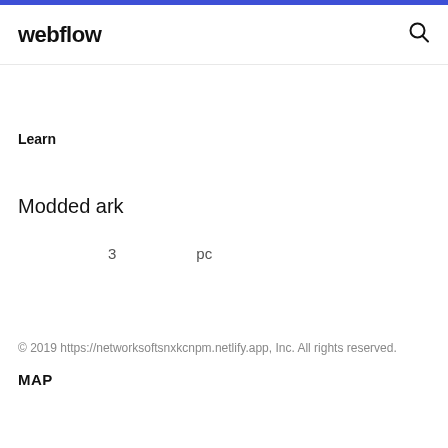webflow
Learn
Modded ark
3    pc
© 2019 https://networksoftsnxkcnpm.netlify.app, Inc. All rights reserved.
MAP